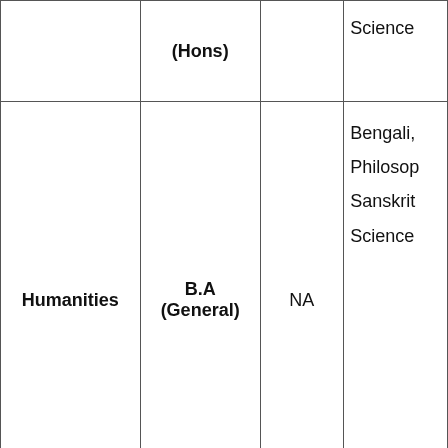|  | (Hons) |  | Science |
| --- | --- | --- | --- |
| Humanities | B.A (General) | NA | Bengali, Philosophy, Sanskrit, Science |
Intake or Seat Capacity @ Akui Women's College
Akui Women's College Bankura Seat Capacity according to the Honors and Programme Course is shared through the chart as under –